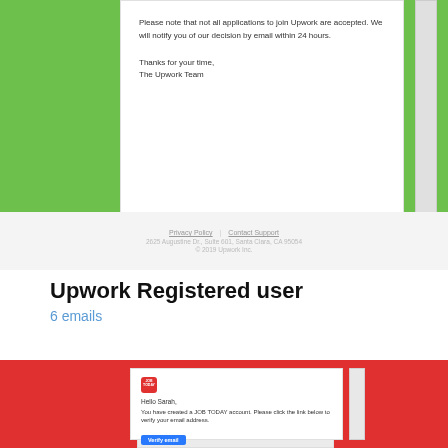[Figure (screenshot): Upwork email screenshot showing rejection notice with green background, white card with body text about application decision, and footer with privacy policy and contact support links]
Upwork Registered user
6 emails
[Figure (screenshot): JOB TODAY email screenshot showing account verification email with red background, JOB TODAY logo, greeting to Sarah, verify email button, and thank you message from The JOB TODAY Team]